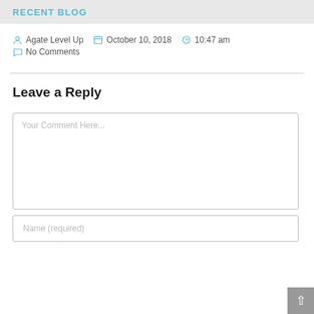RECENT BLOG
Agate Level Up   October 10, 2018   10:47 am
No Comments
Leave a Reply
Your Comment Here...
Name (required)